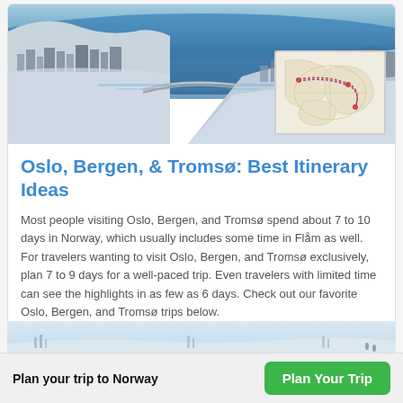[Figure (photo): Aerial view of a coastal Norwegian city (Tromsø) in winter, showing a bridge crossing a fjord, snow-covered urban buildings and landscape, and blue water. A small route map thumbnail is overlaid in the bottom-right corner of the photo.]
Oslo, Bergen, & Tromsø: Best Itinerary Ideas
Most people visiting Oslo, Bergen, and Tromsø spend about 7 to 10 days in Norway, which usually includes some time in Flåm as well. For travelers wanting to visit Oslo, Bergen, and Tromsø exclusively, plan 7 to 9 days for a well-paced trip. Even travelers with limited time can see the highlights in as few as 6 days. Check out our favorite Oslo, Bergen, and Tromsø trips below.
[Figure (photo): Partial view of a snowy winter landscape in Norway with a green accent bar at the bottom.]
Plan your trip to Norway
Plan Your Trip